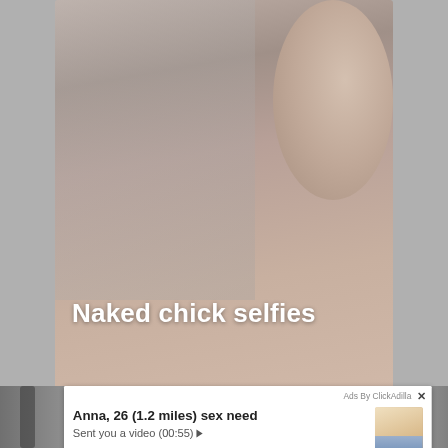[Figure (photo): Blurred close-up background photo serving as header image behind title text]
Naked chick selfies
[Figure (screenshot): Ad popup overlay from ClickAdilla: profile card for Anna, 26 (1.2 miles) sex need, with video message notification and photo of blonde woman in car taking selfie]
Ads By ClickAdilla
Anna, 26 (1.2 miles) sex need
Sent you a video (00:55) ▶
2md